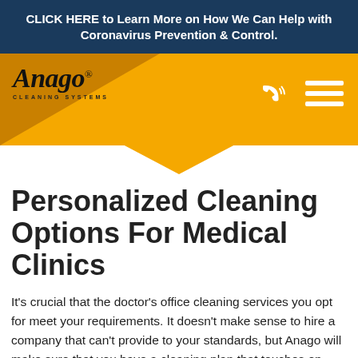CLICK HERE to Learn More on How We Can Help with Coronavirus Prevention & Control.
[Figure (logo): Anago Cleaning Systems logo with orange header bar and navigation icons (phone and hamburger menu)]
Personalized Cleaning Options For Medical Clinics
It's crucial that the doctor's office cleaning services you opt for meet your requirements. It doesn't make sense to hire a company that can't provide to your standards, but Anago will make sure that you have a cleaning plan that touches on everything. With Anago, your doctor's office janitorial services in Pleasanton, CA are wholly customizable. These